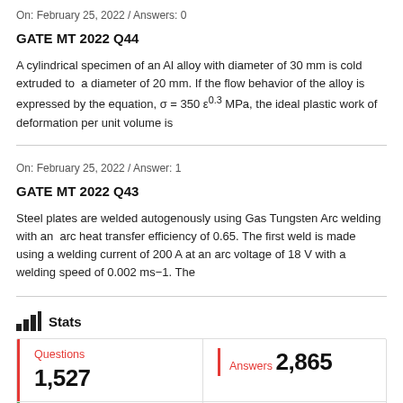On: February 25, 2022  /  Answers: 0
GATE MT 2022 Q44
A cylindrical specimen of an Al alloy with diameter of 30 mm is cold extruded to  a diameter of 20 mm. If the flow behavior of the alloy is expressed by the equation, σ = 350 ε0.3 MPa, the ideal plastic work of deformation per unit volume is
On: February 25, 2022  /  Answer: 1
GATE MT 2022 Q43
Steel plates are welded autogenously using Gas Tungsten Arc welding with an  arc heat transfer efficiency of 0.65. The first weld is made using a welding current of 200 A at an arc voltage of 18 V with a welding speed of 0.002 ms−1. The
Stats
| Questions | Answers |
| --- | --- |
| 1,527 | 2,865 |